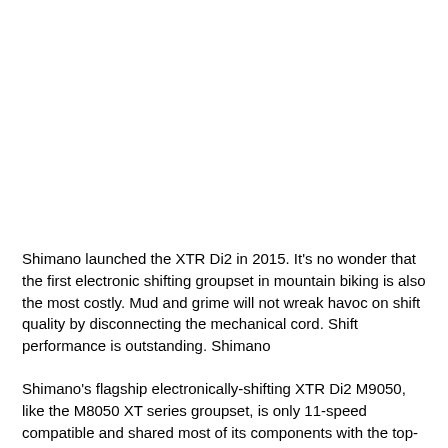Shimano launched the XTR Di2 in 2015. It's no wonder that the first electronic shifting groupset in mountain biking is also the most costly. Mud and grime will not wreak havoc on shift quality by disconnecting the mechanical cord. Shift performance is outstanding. Shimano
Shimano's flagship electronically-shifting XTR Di2 M9050, like the M8050 XT series groupset, is only 11-speed compatible and shared most of its components with the top-tier M9000 groupset while it was